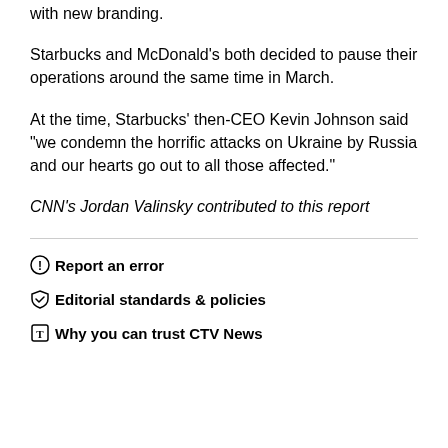with new branding.
Starbucks and McDonald's both decided to pause their operations around the same time in March.
At the time, Starbucks' then-CEO Kevin Johnson said "we condemn the horrific attacks on Ukraine by Russia and our hearts go out to all those affected."
CNN's Jordan Valinsky contributed to this report
Report an error
Editorial standards & policies
Why you can trust CTV News